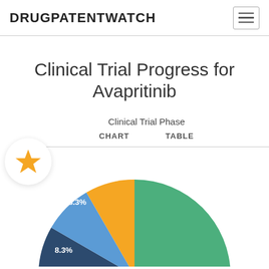DRUGPATENTWATCH
Clinical Trial Progress for Avapritinib
[Figure (pie-chart): Pie chart showing clinical trial phase distribution for Avapritinib. Largest green slice ~75%, dark blue slice 8.3%, light blue slice 8.3%, orange slice at bottom.]